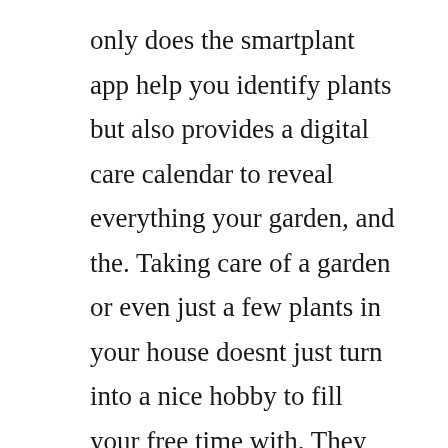only does the smartplant app help you identify plants but also provides a digital care calendar to reveal everything your garden, and the. Taking care of a garden or even just a few plants in your house doesnt just turn into a nice hobby to fill your free time with. They help in creating layouts for steel structures, model equipment, commercial spaces, etc.
Plant database software free download plant database. Why dont you try making a vegetable garden and planting. It helps manufacturers to plan, schedule, reschedule,